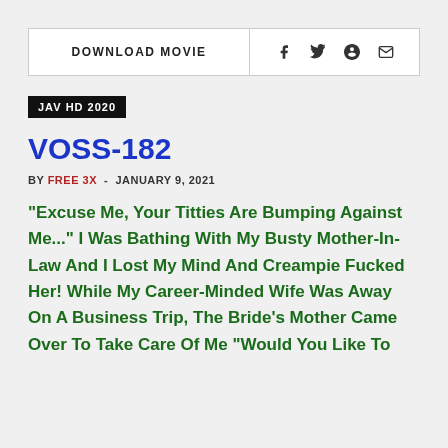DOWNLOAD MOVIE
JAV HD 2020
VOSS-182
BY FREE 3X - JANUARY 9, 2021
"Excuse Me, Your Titties Are Bumping Against Me..." I Was Bathing With My Busty Mother-In-Law And I Lost My Mind And Creampie Fucked Her! While My Career-Minded Wife Was Away On A Business Trip, The Bride's Mother Came Over To Take Care Of Me "Would You Like To